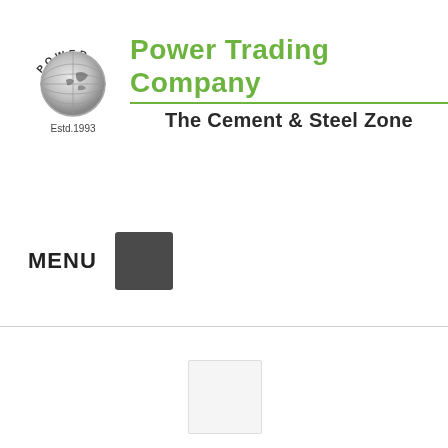[Figure (logo): Power Trading Company logo: a globe with 'POWER' text arched above, and 'Estd.1993' below, alongside green company name text and tagline]
Power Trading Company
The Cement & Steel Zone
MENU